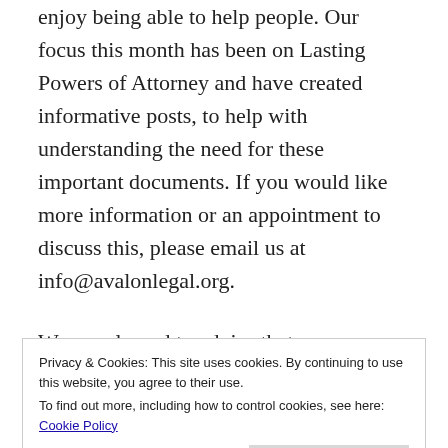enjoy being able to help people. Our focus this month has been on Lasting Powers of Attorney and have created informative posts, to help with understanding the need for these important documents. If you would like more information or an appointment to discuss this, please email us at info@avalonlegal.org.
We are pleased to advise that our registered office address has moved from Leatherhead to Epsom.
We continue to offer evening and weekend appointments as well as day time appointments. We
Privacy & Cookies: This site uses cookies. By continuing to use this website, you agree to their use.
To find out more, including how to control cookies, see here: Cookie Policy
Close and accept
changed for confidentiality.